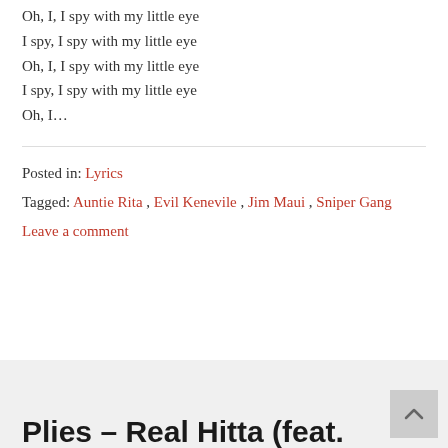Oh, I, I spy with my little eye
I spy, I spy with my little eye
Oh, I, I spy with my little eye
I spy, I spy with my little eye
Oh, I…
Posted in: Lyrics
Tagged: Auntie Rita, Evil Kenevile, Jim Maui, Sniper Gang
Leave a comment
Plies – Real Hitta (feat.